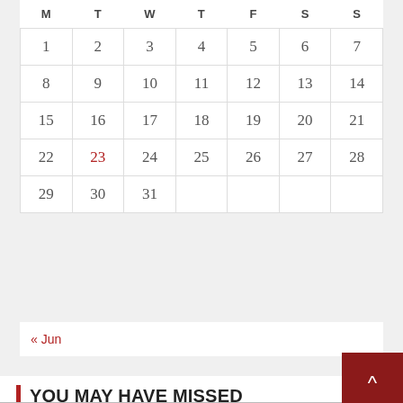| M | T | W | T | F | S | S |
| --- | --- | --- | --- | --- | --- | --- |
| 1 | 2 | 3 | 4 | 5 | 6 | 7 |
| 8 | 9 | 10 | 11 | 12 | 13 | 14 |
| 15 | 16 | 17 | 18 | 19 | 20 | 21 |
| 22 | 23 | 24 | 25 | 26 | 27 | 28 |
| 29 | 30 | 31 |  |  |  |  |
« Jun
YOU MAY HAVE MISSED
[Figure (photo): Partial view of trees against sky, bottom of page]